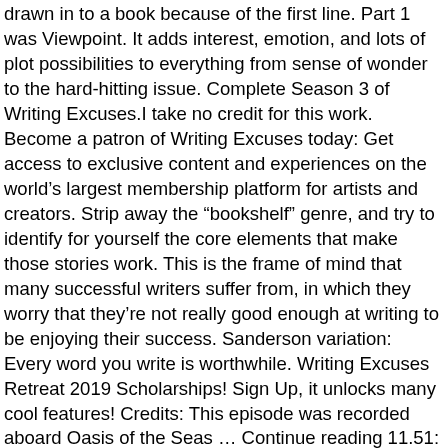drawn in to a book because of the first line. Part 1 was Viewpoint. It adds interest, emotion, and lots of plot possibilities to everything from sense of wonder to the hard-hitting issue. Complete Season 3 of Writing Excuses.I take no credit for this work. Become a patron of Writing Excuses today: Get access to exclusive content and experiences on the world's largest membership platform for artists and creators. Strip away the “bookshelf” genre, and try to identify for yourself the core elements that make those stories work. This is the frame of mind that many successful writers suffer from, in which they worry that they’re not really good enough at writing to be enjoying their success. Sanderson variation: Every word you write is worthwhile. Writing Excuses Retreat 2019 Scholarships! Sign Up, it unlocks many cool features! Credits: This episode was recorded aboard Oasis of the Seas … Continue reading 11.51: Ensemble as a Sub-Genre, with Lynne M. Thomas →. Man City won last season's semi-final 3-2 on aggregate. … 4-11 - Brainstorming From Headlines Whether you write from a solid outline or discover your plot as you go, we’ve got tricks and tools for you. And how lovable can a group of mercenaries be? Think back to your own childhood, and write up one of your young fears into a story. Take something you’ve written, and gender-swap it. Ghost Talkers, by Mary Robinette Kowal, and